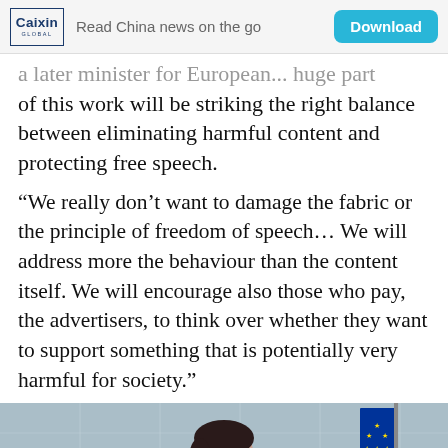Caixin GLOBAL | Read China news on the go | Download
...a later minister for European... huge part of this work will be striking the right balance between eliminating harmful content and protecting free speech.
“We really don’t want to damage the fabric or the principle of freedom of speech... We will address more the behaviour than the content itself. We will encourage also those who pay, the advertisers, to think over whether they want to support something that is potentially very harmful for society.”
[Figure (photo): Photo of a woman in a red jacket standing in front of a European Union flag and glass building background.]